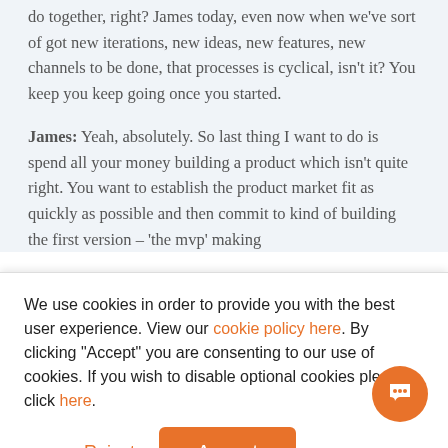do together, right? James today, even now when we've sort of got new iterations, new ideas, new features, new channels to be done, that processes is cyclical, isn't it? You keep you keep going once you started.
James: Yeah, absolutely. So last thing I want to do is spend all your money building a product which isn't quite right. You want to establish the product market fit as quickly as possible and then commit to kind of building the first version – 'the mvp' making
We use cookies in order to provide you with the best user experience. View our cookie policy here. By clicking "Accept" you are consenting to our use of cookies. If you wish to disable optional cookies please click here.
promoting my business, but when people land on